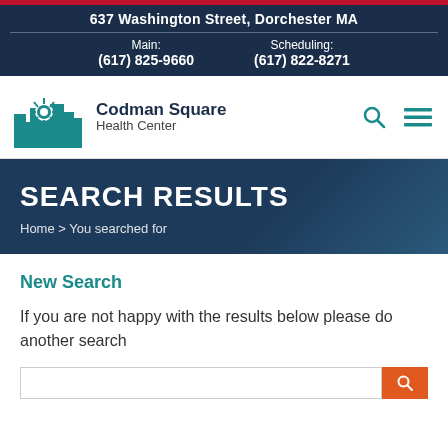637 Washington Street, Dorchester MA
Main: (617) 825-9660  Scheduling: (617) 822-8271
[Figure (logo): Codman Square Health Center logo with teal cityscape/starburst graphic and text]
SEARCH RESULTS
Home > You searched for
New Search
If you are not happy with the results below please do another search